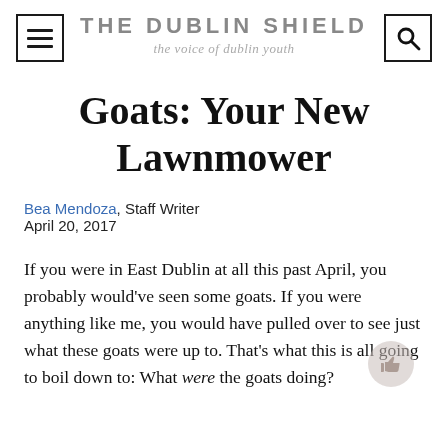THE DUBLIN SHIELD — the voice of dublin youth
Goats: Your New Lawnmower
Bea Mendoza, Staff Writer
April 20, 2017
If you were in East Dublin at all this past April, you probably would've seen some goats. If you were anything like me, you would have pulled over to see just what these goats were up to. That's what this is all going to boil down to: What were the goats doing?